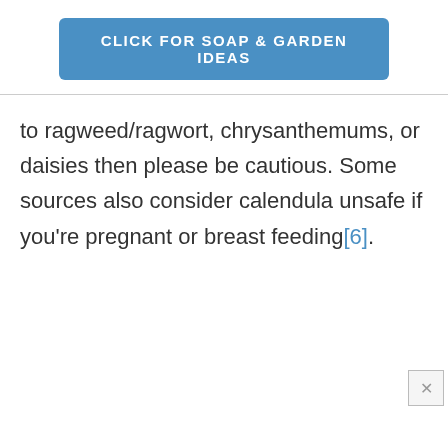[Figure (other): Blue button banner with text 'CLICK FOR SOAP & GARDEN IDEAS']
to ragweed/ragwort, chrysanthemums, or daisies then please be cautious. Some sources also consider calendula unsafe if you're pregnant or breast feeding[6].